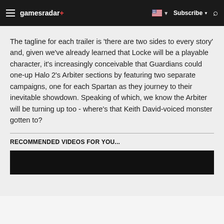gamesradar+ | Subscribe | Search
The tagline for each trailer is 'there are two sides to every story' and, given we've already learned that Locke will be a playable character, it's increasingly conceivable that Guardians could one-up Halo 2's Arbiter sections by featuring two separate campaigns, one for each Spartan as they journey to their inevitable showdown. Speaking of which, we know the Arbiter will be turning up too - where's that Keith David-voiced monster gotten to?
RECOMMENDED VIDEOS FOR YOU...
[Figure (other): Black video player placeholder rectangle]